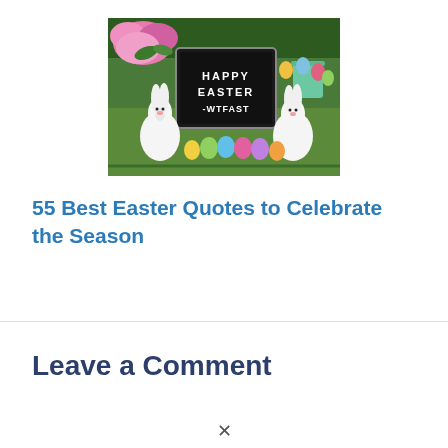[Figure (photo): Easter-themed photo showing a black letter board sign reading 'HAPPY EASTER -WTFAST', surrounded by colorful Easter eggs, white ceramic bunny figurines, and pink flowers on green grass.]
55 Best Easter Quotes to Celebrate the Season
Leave a Comment